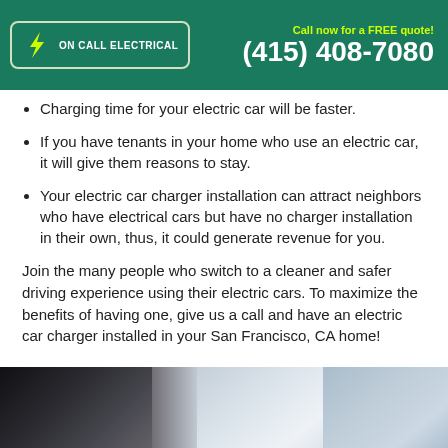Call now for a FREE quote! (415) 408-7080
Charging time for your electric car will be faster.
If you have tenants in your home who use an electric car, it will give them reasons to stay.
Your electric car charger installation can attract neighbors who have electrical cars but have no charger installation in their own, thus, it could generate revenue for you.
Join the many people who switch to a cleaner and safer driving experience using their electric cars. To maximize the benefits of having one, give us a call and have an electric car charger installed in your San Francisco, CA home!
[Figure (photo): Close-up photo of an electric car charging area with car body and charger visible]